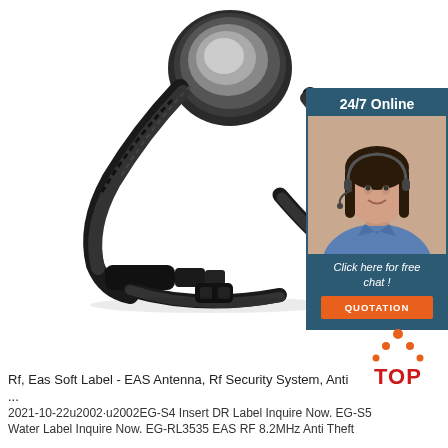[Figure (photo): EAS security tag with circular disc head and flexible black strap, shown on white background]
[Figure (photo): Chat widget overlay showing 24/7 Online text, female customer service agent with headset, 'Click here for free chat!' text, and orange QUOTATION button]
[Figure (logo): TOP icon with orange triangle dots and red TOP text]
Rf, Eas Soft Label - EAS Antenna, Rf Security System, Anti ...
2021-10-22u2002·u2002EG-S4 Insert DR Label Inquire Now. EG-S5 Water Label Inquire Now. EG-RL3535 EAS RF 8.2MHz Anti Theft ...